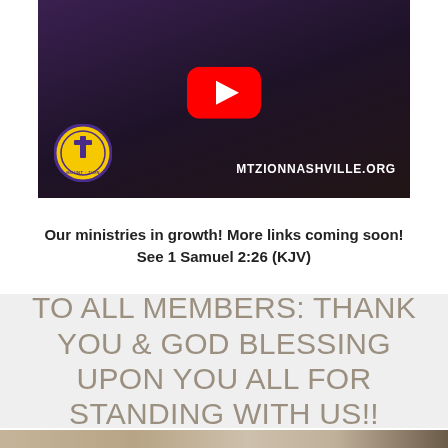[Figure (screenshot): YouTube video thumbnail showing a preacher at Mount Zion Baptist Church Nashville with the church logo and MTZIONNASHVILLE.ORG text overlay. A YouTube play button is overlaid on the image.]
Our ministries in growth! More links coming soon! See 1 Samuel 2:26 (KJV)
TO ALL MEMBERS: THANK YOU & GOD BLESSING UPON YOU ALL FOR STANDING WITH US!!
[Figure (photo): Partial photo visible at bottom of page showing people outdoors]